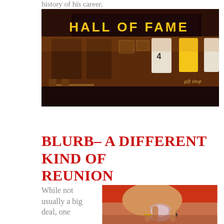history of his career.
[Figure (photo): Interior of The Bobby Orr Hall of Fame museum, showing display cases, jerseys including number 4, lit signage reading 'THE BOBBY ORR HALL OF FAME', and a gift shop area.]
Blurb– a different kind of reunion
While not usually a big deal, one
[Figure (photo): Close-up photo of a person in red clothing examining or holding a glass or crystal object, wearing a ring.]